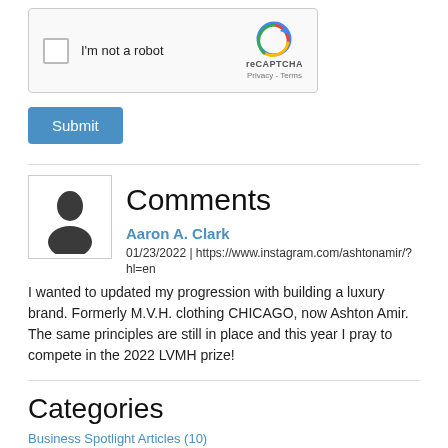[Figure (other): reCAPTCHA widget with checkbox labeled 'I'm not a robot' and reCAPTCHA logo with Privacy and Terms links]
Submit
Comments
[Figure (illustration): Default user avatar silhouette (dark figure on white background)]
Aaron A. Clark
01/23/2022 | https://www.instagram.com/ashtonamir/?hl=en
I wanted to updated my progression with building a luxury brand. Formerly M.V.H. clothing CHICAGO, now Ashton Amir. The same principles are still in place and this year I pray to compete in the 2022 LVMH prize!
Categories
Business Spotlight Articles (10)
Colors & Patterns (1)